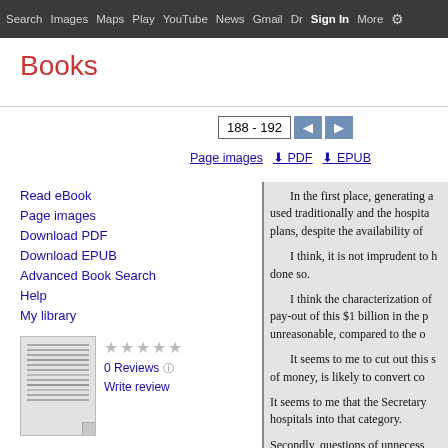Search  Images  Maps  Play  YouTube  News  Gmail  Dr Sign In More ⚙
Books
Read eBook
Page images
Download PDF
Download EPUB
Advanced Book Search
Help
My library
0 Reviews
Write review
Medicare-medicaid Administrative and Reimbursement Reform Act: Hearings
188 - 192
Page images  ⬇ PDF  ⬇ EPUB
In the first place, generating a used traditionally and the hospita plans, despite the availability of

I think, it is not imprudent to h done so.

I think the characterization of pay-out of this $1 billion in the p unreasonable, compared to the o

It seems to me to cut out this s of money, is likely to convert co

It seems to me that the Secretary hospitals into that category.

Secondly, questions of unnecess